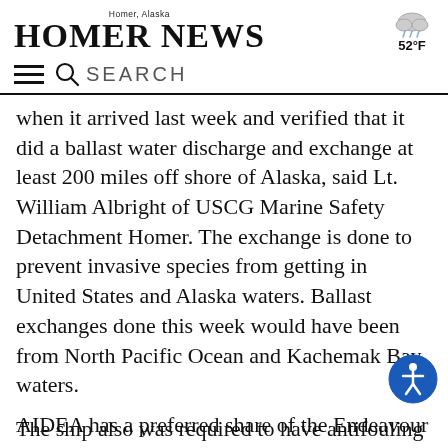Homer, Alaska — HOMER NEWS
when it arrived last week and verified that it did a ballast water discharge and exchange at least 200 miles off shore of Alaska, said Lt. William Albright of USCG Marine Safety Detachment Homer. The exchange is done to prevent invasive species from getting in United States and Alaska waters. Ballast exchanges done this week would have been from North Pacific Ocean and Kachemak Bay waters.
The ship also was required to have antifouling paint to prevent the growth of organisms. The Coast Guard did not find any issues with the Zhen Hua 15, Albright said.
AIDEA has a preferred share of the Endeavour